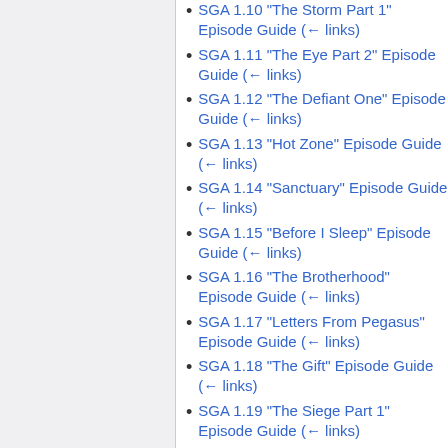SGA 1.10 "The Storm Part 1" Episode Guide  (← links)
SGA 1.11 "The Eye Part 2" Episode Guide  (← links)
SGA 1.12 "The Defiant One" Episode Guide  (← links)
SGA 1.13 "Hot Zone" Episode Guide  (← links)
SGA 1.14 "Sanctuary" Episode Guide  (← links)
SGA 1.15 "Before I Sleep" Episode Guide  (← links)
SGA 1.16 "The Brotherhood" Episode Guide  (← links)
SGA 1.17 "Letters From Pegasus" Episode Guide  (← links)
SGA 1.18 "The Gift" Episode Guide  (← links)
SGA 1.19 "The Siege Part 1" Episode Guide  (← links)